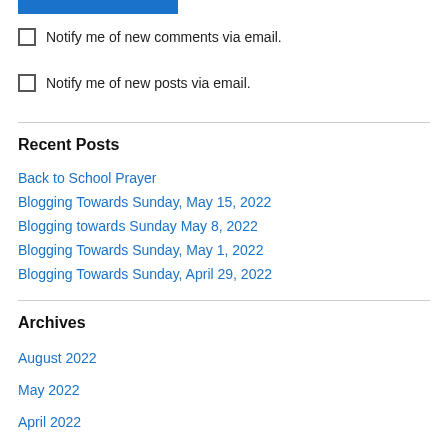[Figure (other): Blue horizontal bar at top of page]
Notify me of new comments via email.
Notify me of new posts via email.
Recent Posts
Back to School Prayer
Blogging Towards Sunday, May 15, 2022
Blogging towards Sunday May 8, 2022
Blogging Towards Sunday, May 1, 2022
Blogging Towards Sunday, April 29, 2022
Archives
August 2022
May 2022
April 2022